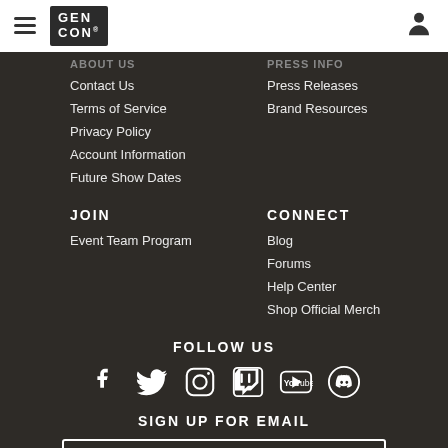Gen Con navigation header with hamburger menu and user icon
Contact Us
Terms of Service
Privacy Policy
Account Information
Future Show Dates
Press Releases
Brand Resources
JOIN
Event Team Program
CONNECT
Blog
Forums
Help Center
Shop Official Merch
FOLLOW US
[Figure (infographic): Social media icons: Facebook, Twitter, Instagram, Twitch, YouTube, Discord]
SIGN UP FOR EMAIL